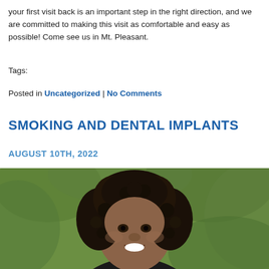your first visit back is an important step in the right direction, and we are committed to making this visit as comfortable and easy as possible! Come see us in Mt. Pleasant.
Tags:
Posted in Uncategorized | No Comments
SMOKING AND DENTAL IMPLANTS
AUGUST 10TH, 2022
[Figure (photo): A smiling woman with curly hair photographed outdoors against a green leafy background]